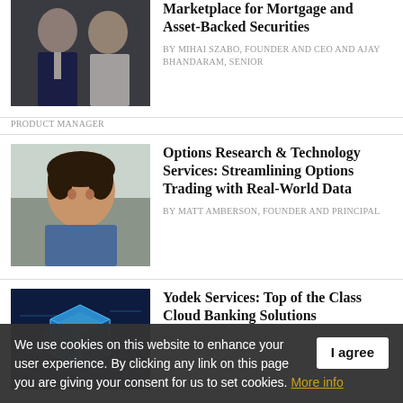[Figure (photo): Two men in professional attire (one in a suit, one in a white shirt) on dark background]
Marketplace for Mortgage and Asset-Backed Securities
BY MIHAI SZABO, FOUNDER AND CEO AND AJAY BHANDARAM, SENIOR PRODUCT MANAGER
[Figure (photo): Smiling man with curly dark hair wearing a blue t-shirt outdoors]
Options Research & Technology Services: Streamlining Options Trading with Real-World Data
BY MATT AMBERSON, FOUNDER AND PRINCIPAL
[Figure (illustration): 3D blue cube logo with circuit board background on dark navy background]
Yodek Services: Top of the Class Cloud Banking Solutions
BY DANIEL HUTTO, CEO
We use cookies on this website to enhance your user experience. By clicking any link on this page you are giving your consent for us to set cookies. More info